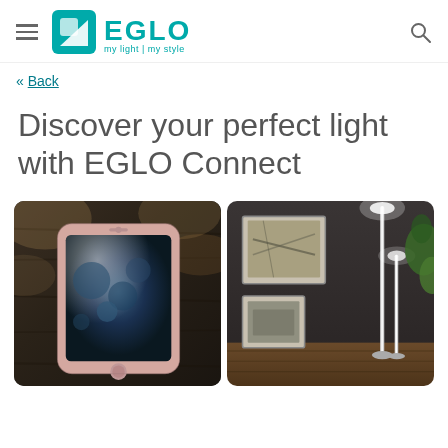EGLO my light | my style
« Back
Discover your perfect light with EGLO Connect
[Figure (photo): Two side-by-side photos: left shows a white iPhone on a dark wooden surface with dappled sunlight; right shows a modern floor lamp in a dark-walled room with framed artwork on the wall and green plant leaves.]